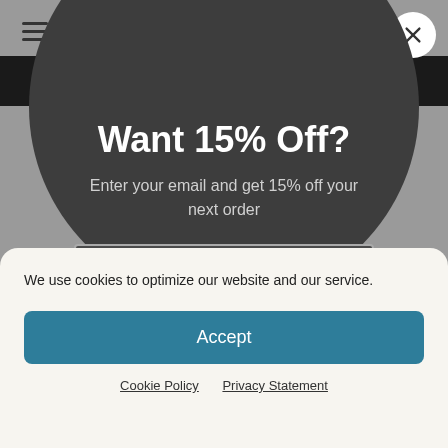[Figure (screenshot): Website popup offering 15% off with email signup, overlaid by a cookie consent banner. Background is gray with a black navigation bar. Dark circular modal contains bold white headline 'Want 15% Off?', subtitle text, email input field, and 'Get Your Code' button. A cookie consent panel at bottom reads 'We use cookies to optimize our website and our service.' with Accept button and links to Cookie Policy and Privacy Statement.]
Want 15% Off?
Enter your email and get 15% off your next order
Email
Get Your Code
We use cookies to optimize our website and our service.
Accept
Cookie Policy   Privacy Statement